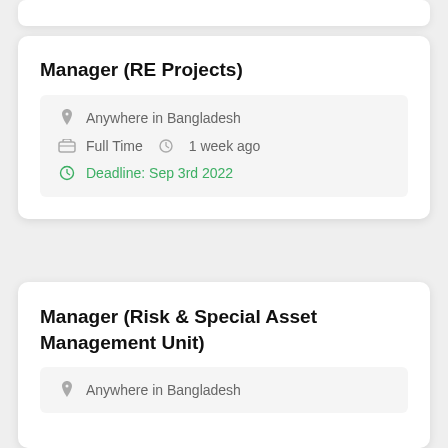Manager (RE Projects)
Anywhere in Bangladesh
Full Time   1 week ago
Deadline: Sep 3rd 2022
Manager (Risk & Special Asset Management Unit)
Anywhere in Bangladesh